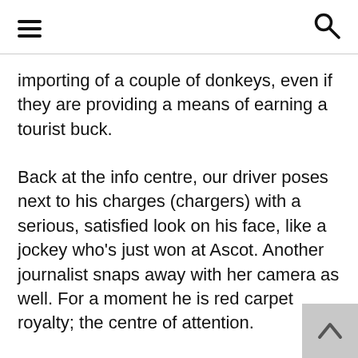[hamburger menu] [search icon]
importing of a couple of donkeys, even if they are providing a means of earning a tourist buck.
Back at the info centre, our driver poses next to his charges (chargers) with a serious, satisfied look on his face, like a jockey who's just won at Ascot. Another journalist snaps away with her camera as well. For a moment he is red carpet royalty; the centre of attention.
And that's fair. After all, this is the man that